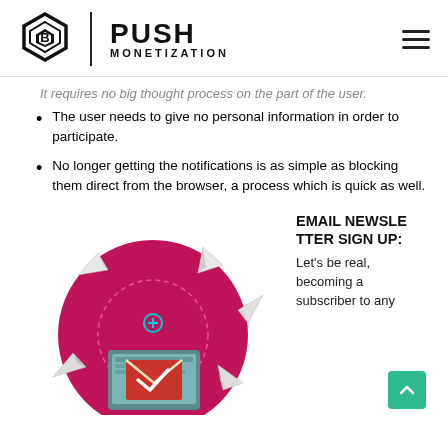PUSH MONETIZATION
It requires no big thought process on the part of the user.
The user needs to give no personal information in order to participate.
No longer getting the notifications is as simple as blocking them direct from the browser, a process which is quick as well.
[Figure (illustration): Email newsletter illustration: dark pink/magenta circular background with paper airplanes flying outward and a laptop/tablet displaying an email with a red checkmark in the center.]
EMAIL NEWSLETTER SIGN UP: Let's be real, becoming a subscriber to any